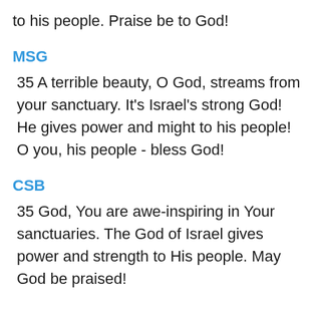to his people. Praise be to God!
MSG
35 A terrible beauty, O God, streams from your sanctuary. It's Israel's strong God! He gives power and might to his people! O you, his people - bless God!
CSB
35 God, You are awe-inspiring in Your sanctuaries. The God of Israel gives power and strength to His people. May God be praised!